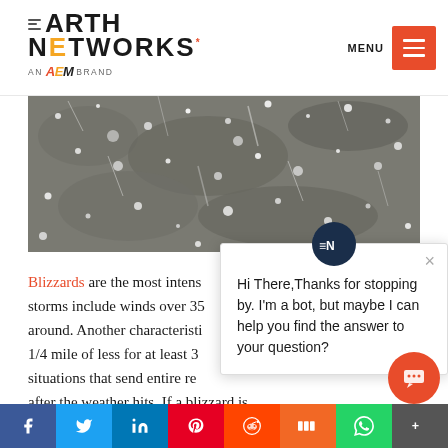[Figure (logo): Earth Networks logo with 'AN aem BRAND' tagline]
[Figure (photo): Close-up photo of snow blizzard conditions]
Blizzards are the most intense... storms include winds over 35... around. Another characteristic... 1/4 mile of less for at least 3... situations that send entire re... after the weather hits. If a blizzard is predicted for your area, it's important to prepare before the storm hits. You could pote...
[Figure (screenshot): Chat bot popup overlay: 'Hi There, Thanks for stopping by. I'm a bot, but maybe I can help you find the answer to your question?']
Social share bar: Facebook, Twitter, LinkedIn, Pinterest, Reddit, Mix, WhatsApp, More